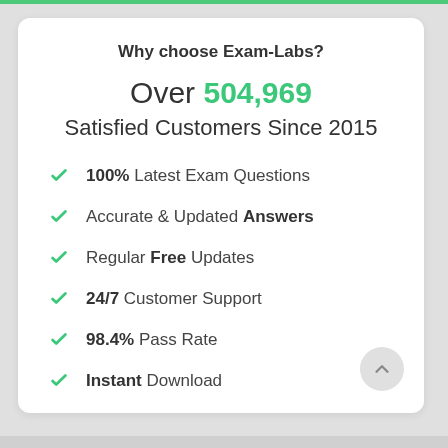Why choose Exam-Labs?
Over 504,969 Satisfied Customers Since 2015
100% Latest Exam Questions
Accurate & Updated Answers
Regular Free Updates
24/7 Customer Support
98.4% Pass Rate
Instant Download